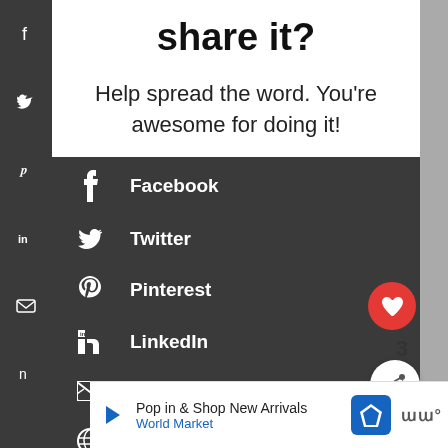share it?
Help spread the word. You're awesome for doing it!
Facebook
Twitter
Pinterest
LinkedIn
Email
WhatsApp
Pop in & Shop New Arrivals
World Market